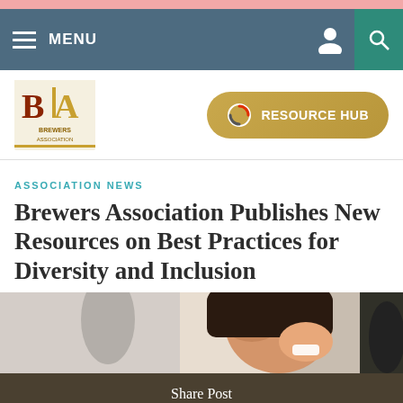MENU
[Figure (logo): Brewers Association logo — BA initials with yellow and brown colors, text BREWERS ASSOCIATION below]
[Figure (other): Resource Hub button with circular icon]
ASSOCIATION NEWS
Brewers Association Publishes New Resources on Best Practices for Diversity and Inclusion
[Figure (photo): Photo of a smiling woman with dark hair, blurred background with people]
Share Post
Share  Email  Tweet